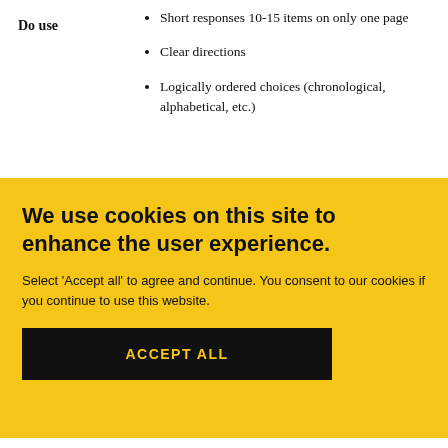Do use
Short responses 10-15 items on only one page
Clear directions
Logically ordered choices (chronological, alphabetical, etc.)
We use cookies on this site to enhance the user experience.
Select 'Accept all' to agree and continue. You consent to our cookies if you continue to use this website.
ACCEPT ALL
"What do you call an exam format in which students must uniquely associate a set of prompts with a set of options?"